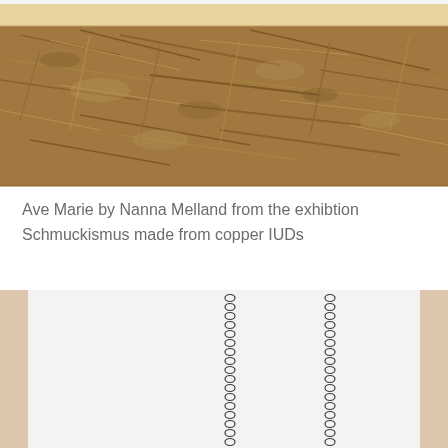[Figure (photo): Close-up photograph of a wooden OSB/chipboard surface with a light wooden frame strip at the top. The board shows a rough, fibrous texture in brown tones with scattered wood fibers visible.]
Ave Marie by Nanna Melland from the exhibtion Schmuckismus made from copper IUDs
[Figure (photo): Photograph of two dark metal chains (copper IUD chains) hanging vertically against a white/light grey background, with wooden frame visible at the edges. The chains have small oval links and hang in parallel.]